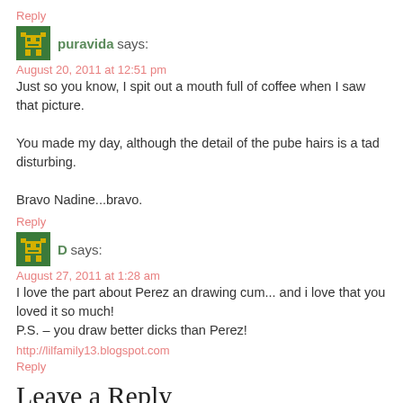Reply
puravida says:
August 20, 2011 at 12:51 pm
Just so you know, I spit out a mouth full of coffee when I saw that picture.

You made my day, although the detail of the pube hairs is a tad disturbing.

Bravo Nadine...bravo.
Reply
D says:
August 27, 2011 at 1:28 am
I love the part about Perez an drawing cum... and i love that you loved it so much!
P.S. – you draw better dicks than Perez!
http://lilfamily13.blogspot.com
Reply
Leave a Reply